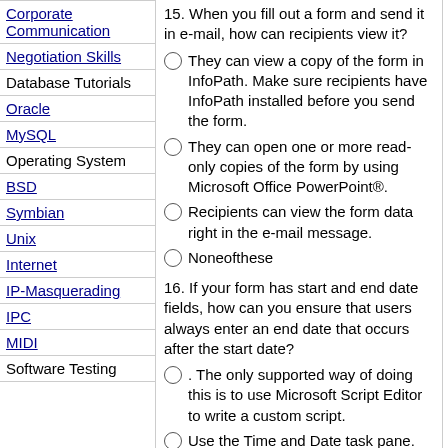Corporate Communication
Negotiation Skills
Database Tutorials
Oracle
MySQL
Operating System
BSD
Symbian
Unix
Internet
IP-Masquerading
IPC
MIDI
Software Testing
15. When you fill out a form and send it in e-mail, how can recipients view it?
They can view a copy of the form in InfoPath. Make sure recipients have InfoPath installed before you send the form.
They can open one or more read-only copies of the form by using Microsoft Office PowerPoint®.
Recipients can view the form data right in the e-mail message.
Noneofthese
16. If your form has start and end date fields, how can you ensure that users always enter an end date that occurs after the start date?
. The only supported way of doing this is to use Microsoft Script Editor to write a custom script.
Use the Time and Date task pane.